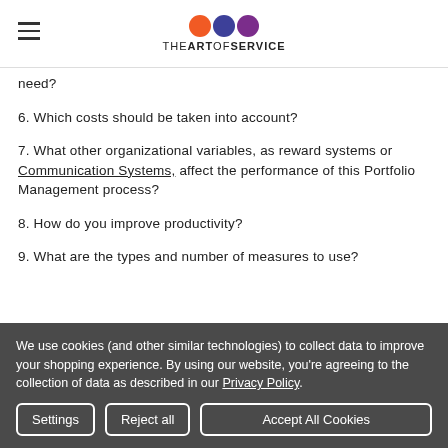THE ART OF SERVICE
need?
6. Which costs should be taken into account?
7. What other organizational variables, as reward systems or Communication Systems, affect the performance of this Portfolio Management process?
8. How do you improve productivity?
9. What are the types and number of measures to use?
We use cookies (and other similar technologies) to collect data to improve your shopping experience. By using our website, you're agreeing to the collection of data as described in our Privacy Policy.
Settings | Reject all | Accept All Cookies